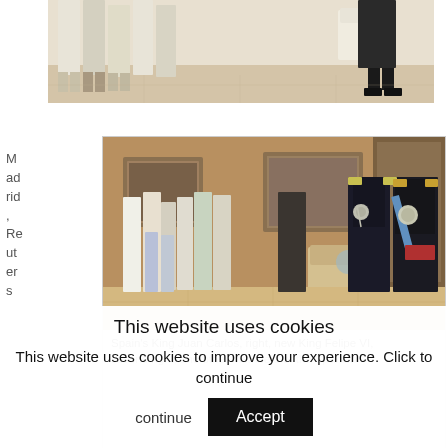[Figure (photo): Partial photo showing people standing in a formal room, lower half visible, women in light dresses, men in dark suits]
Madrid, Reuters
[Figure (photo): Spain's King Juan Carlos in military uniform and new King Felipe VI in military uniform, with female members of the Spanish royal family standing in an ornate room]
Spain's King Juan Carlos, right, new King Felipe VI, second right, and other members of the Spanish...
This website uses cookies
This website uses cookies to improve your experience. Click to continue
Accept